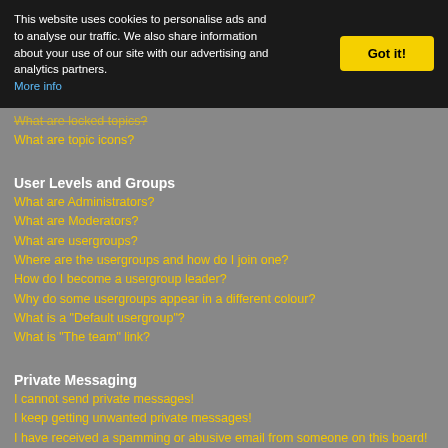This website uses cookies to personalise ads and to analyse our traffic. We also share information about your use of our site with our advertising and analytics partners. More info
What are locked topics?
What are topic icons?
User Levels and Groups
What are Administrators?
What are Moderators?
What are usergroups?
Where are the usergroups and how do I join one?
How do I become a usergroup leader?
Why do some usergroups appear in a different colour?
What is a "Default usergroup"?
What is "The team" link?
Private Messaging
I cannot send private messages!
I keep getting unwanted private messages!
I have received a spamming or abusive email from someone on this board!
Friends and Foes
What are my Friends and Foes lists?
How can I add / remove users to my Friends or Foes list?
Searching the Forums